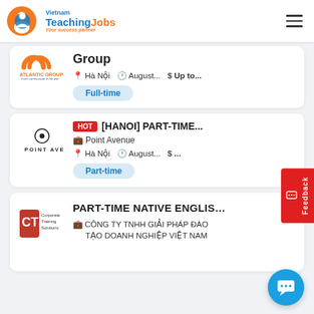Vietnam Teaching Jobs — Your success partner
[Figure (screenshot): Partial job card for Atlantic Group showing location Hà Nội, date August..., salary Up to..., Full-time tag]
[Figure (screenshot): Job card: HOT [HANOI] PART-TIME... at Point Avenue, Hà Nội, August..., $..., Part-time]
[Figure (screenshot): Job card: PART-TIME NATIVE ENGLIS... at CÔNG TY TNHH GIẢI PHÁP ĐÀO TẠO DOANH NGHIỆP VIỆT NAM, partial card]